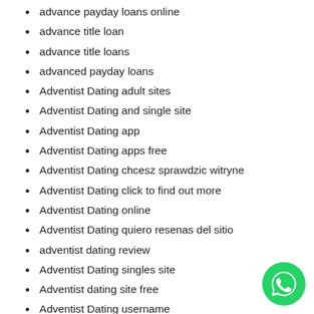advance payday loans online
advance title loan
advance title loans
advanced payday loans
Adventist Dating adult sites
Adventist Dating and single site
Adventist Dating app
Adventist Dating apps free
Adventist Dating chcesz sprawdzic witryne
Adventist Dating click to find out more
Adventist Dating online
Adventist Dating quiero resenas del sitio
adventist dating review
Adventist Dating singles site
Adventist dating site free
Adventist Dating username
Adventist Dating visitors
[Figure (logo): WhatsApp green circular logo button in bottom right corner]